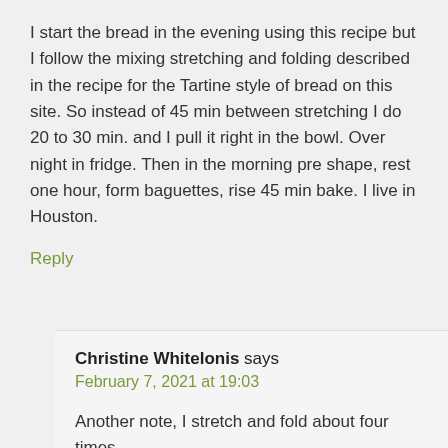I start the bread in the evening using this recipe but I follow the mixing stretching and folding described in the recipe for the Tartine style of bread on this site. So instead of 45 min between stretching I do 20 to 30 min. and I pull it right in the bowl. Over night in fridge. Then in the morning pre shape, rest one hour, form baguettes, rise 45 min bake. I live in Houston.
Reply
Christine Whitelonis says
February 7, 2021 at 19:03
Another note, I stretch and fold about four times